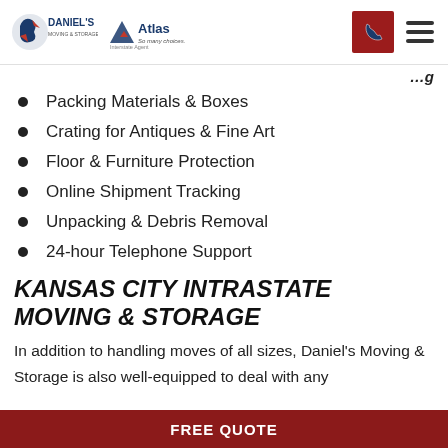Daniel's Moving & Storage — Atlas Interstate Agent
Packing Materials & Boxes
Crating for Antiques & Fine Art
Floor & Furniture Protection
Online Shipment Tracking
Unpacking & Debris Removal
24-hour Telephone Support
KANSAS CITY INTRASTATE MOVING & STORAGE
In addition to handling moves of all sizes, Daniel's Moving & Storage is also well-equipped to deal with any
FREE QUOTE